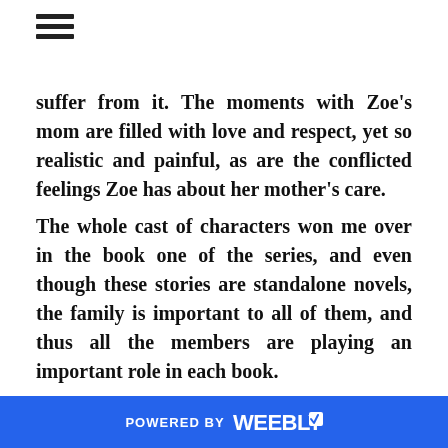☰
suffer from it. The moments with Zoe's mom are filled with love and respect, yet so realistic and painful, as are the conflicted feelings Zoe has about her mother's care.
The whole cast of characters won me over in the book one of the series, and even though these stories are standalone novels, the family is important to all of them, and thus all the members are playing an important role in each book.
I have been waiting to read about Drake and Zoe,
POWERED BY weebly